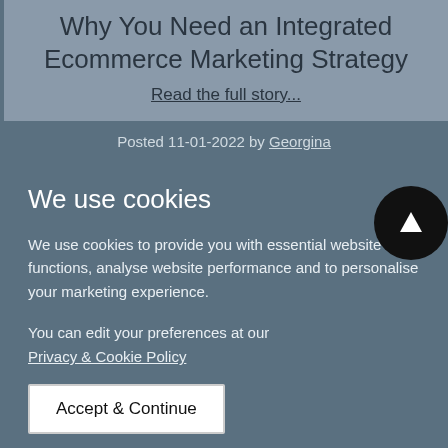Why You Need an Integrated Ecommerce Marketing Strategy
Read the full story...
Posted 11-01-2022 by Georgina
We use cookies
We use cookies to provide you with essential website functions, analyse website performance and to personalise your marketing experience.
You can edit your preferences at our Privacy & Cookie Policy
Accept & Continue